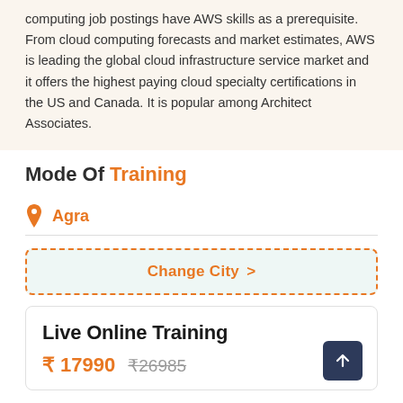computing job postings have AWS skills as a prerequisite. From cloud computing forecasts and market estimates, AWS is leading the global cloud infrastructure service market and it offers the highest paying cloud specialty certifications in the US and Canada. It is popular among Architect Associates.
Mode Of Training
Agra
Change City >
Live Online Training
₹ 17990  ₹26985